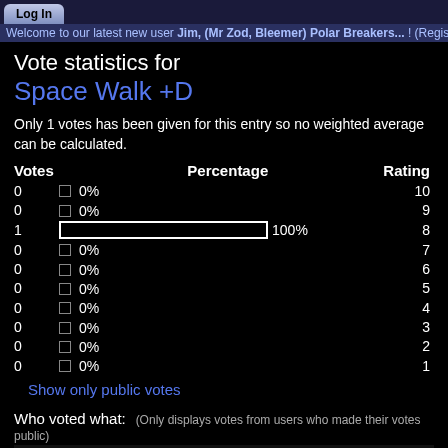Log In
Welcome to our latest new user Jim, (Mr Zod, Bleemer) Polar Breakers... ! (Registered 2022-08-22)
Vote statistics for
Space Walk +D
Only 1 votes has been given for this entry so no weighted average can be calculated.
| Votes | Percentage | Rating |
| --- | --- | --- |
| 0 | □ 0% | 10 |
| 0 | □ 0% | 9 |
| 1 | ——————————————— 100% | 8 |
| 0 | □ 0% | 7 |
| 0 | □ 0% | 6 |
| 0 | □ 0% | 5 |
| 0 | □ 0% | 4 |
| 0 | □ 0% | 3 |
| 0 | □ 0% | 2 |
| 0 | □ 0% | 1 |
Show only public votes
Who voted what: (Only displays votes from users who made their votes public)
| Rating | User |
| --- | --- |
| 8 | DonChaos |